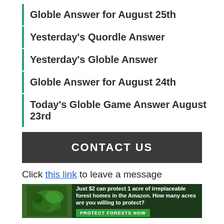Globle Answer for August 25th
Yesterday's Quordle Answer
Yesterday's Globle Answer
Globle Answer for August 24th
Today's Globle Game Answer August 23rd
CONTACT US
Click this link to leave a message
[Figure (other): Advertisement banner: Just $2 can protect 1 acre of irreplaceable forest homes in the Amazon. How many acres are you willing to protect? PROTECT FORESTS NOW]